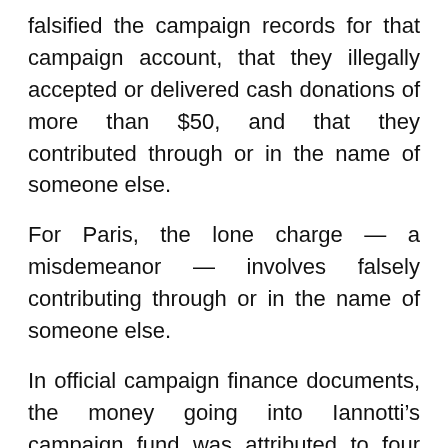falsified the campaign records for that campaign account, that they illegally accepted or delivered cash donations of more than $50, and that they contributed through or in the name of someone else.
For Paris, the lone charge — a misdemeanor — involves falsely contributing through or in the name of someone else.
In official campaign finance documents, the money going into Iannotti's campaign fund was attributed to four people: $600 from Iannoti herself, as two personal loans to her campaign, of $100 and $500; $300 from Foglesong; $200 from Steven Smith of Fern Park; and $100 each from Adam Heath and Todd Karvoski, both of Orlando.